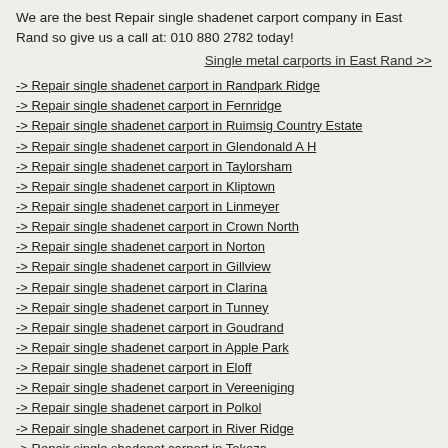We are the best Repair single shadenet carport company in East Rand so give us a call at: 010 880 2782 today!
Single metal carports in East Rand >>
-> Repair single shadenet carport in Randpark Ridge
-> Repair single shadenet carport in Fernridge
-> Repair single shadenet carport in Ruimsig Country Estate
-> Repair single shadenet carport in Glendonald A H
-> Repair single shadenet carport in Taylorsham
-> Repair single shadenet carport in Kliptown
-> Repair single shadenet carport in Linmeyer
-> Repair single shadenet carport in Crown North
-> Repair single shadenet carport in Norton
-> Repair single shadenet carport in Gillview
-> Repair single shadenet carport in Clarina
-> Repair single shadenet carport in Tunney
-> Repair single shadenet carport in Goudrand
-> Repair single shadenet carport in Apple Park
-> Repair single shadenet carport in Eloff
-> Repair single shadenet carport in Vereeniging
-> Repair single shadenet carport in Polkol
-> Repair single shadenet carport in River Ridge
-> Repair single shadenet carport in Tokoza
-> Repair single shadenet carport in Bultfontein
-> Repair single shadenet carport in Christoburg